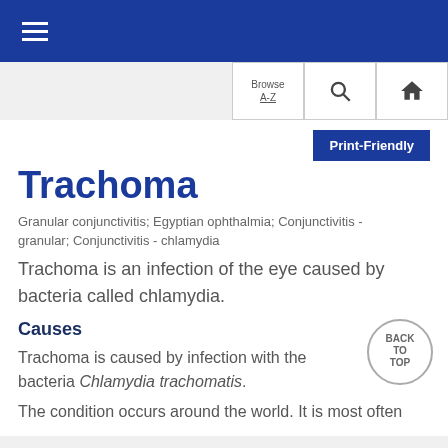☰ [hamburger menu]
Browse A-Z | Search | Home
Trachoma
Granular conjunctivitis; Egyptian ophthalmia; Conjunctivitis - granular; Conjunctivitis - chlamydia
Trachoma is an infection of the eye caused by bacteria called chlamydia.
Causes
Trachoma is caused by infection with the bacteria Chlamydia trachomatis.
The condition occurs around the world. It is most often